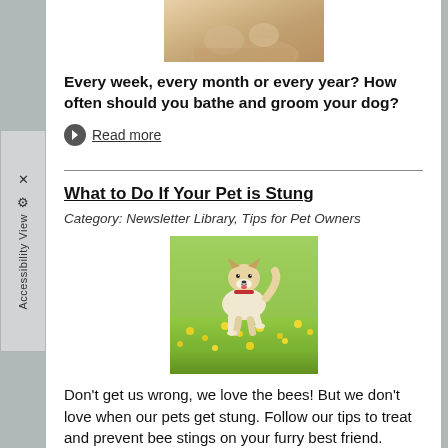[Figure (photo): Partial photo of a dog being bathed or groomed, cropped at top]
Every week, every month or every year? How often should you bathe and groom your dog?
Read more
What to Do If Your Pet is Stung
Category: Newsletter Library, Tips for Pet Owners
[Figure (photo): A happy Shiba Inu dog running through a field of yellow flowers]
Don't get us wrong, we love the bees! But we don't love when our pets get stung. Follow our tips to treat and prevent bee stings on your furry best friend.